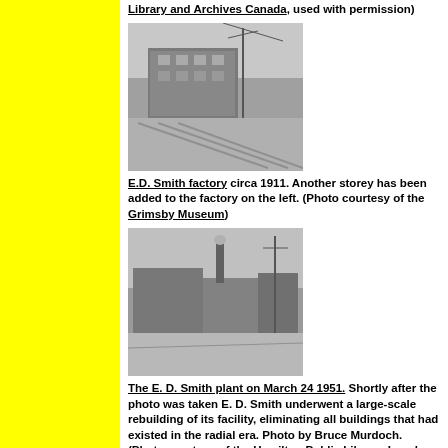Library and Archives Canada, used with permission)
[Figure (photo): Black and white photo of E.D. Smith factory circa 1911 showing a multi-storey industrial building with utility poles and railway tracks in foreground]
E.D. Smith factory circa 1911. Another storey has been added to the factory on the left. (Photo courtesy of the Grimsby Museum)
[Figure (photo): Black and white photo of the E.D. Smith plant on March 24 1951 showing factory buildings with a smokestack and a road in the foreground]
The E. D. Smith plant on March 24 1951. Shortly after the photo was taken E. D. Smith underwent a large-scale rebuilding of its facility, eliminating all buildings that had existed in the radial era. Photo by Bruce Murdoch. (Photo courtesy of the Hamilton Public Library, Local History & Archives)
Sources
Bailey, William and Parker, Douglas. Streetcar Builders of Canada, Volume One. Montreal: The